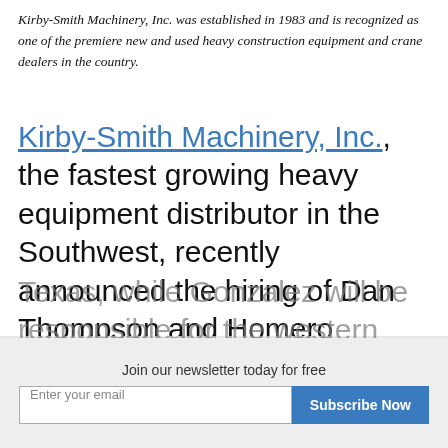Kirby-Smith Machinery, Inc. was established in 1983 and is recognized as one of the premiere new and used heavy construction equipment and crane dealers in the country.
Kirby-Smith Machinery, Inc., the fastest growing heavy equipment distributor in the Southwest, recently announced the hiring of Dan Thompson and Homero Gonzalez to its governmental sales team in Texas. Thompson will focus on governmental markets in northeast Texas, while Gonzalez will be responsible for the western part of the